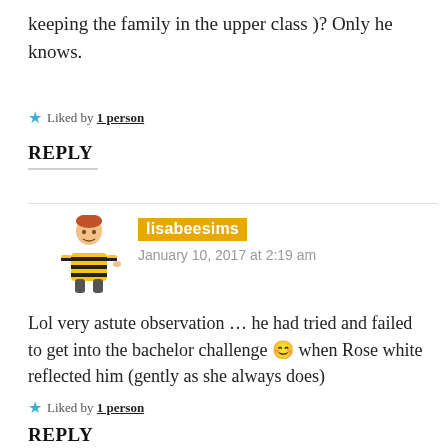keeping the family in the upper class )? Only he knows.
Liked by 1 person
REPLY
lisabeesims
January 10, 2017 at 2:19 am
Lol very astute observation … he had tried and failed to get into the bachelor challenge 😊 when Rose white reflected him (gently as she always does)
Liked by 1 person
REPLY